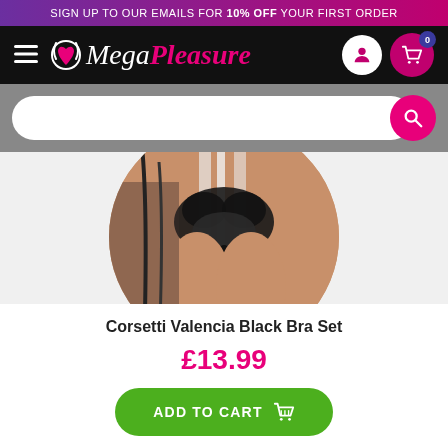SIGN UP TO OUR EMAILS FOR 10% OFF YOUR FIRST ORDER
[Figure (logo): MegaPleasure website logo with hamburger menu, account icon, and cart icon showing 0 items]
[Figure (other): Search bar on grey background with pink search button]
[Figure (photo): Product photo in circular frame showing Corsetti Valencia Black Bra Set lingerie item]
Corsetti Valencia Black Bra Set
£13.99
ADD TO CART